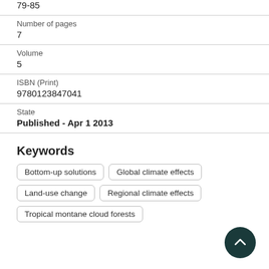79-85
Number of pages
7
Volume
5
ISBN (Print)
9780123847041
State
Published - Apr 1 2013
Keywords
Bottom-up solutions
Global climate effects
Land-use change
Regional climate effects
Tropical montane cloud forests